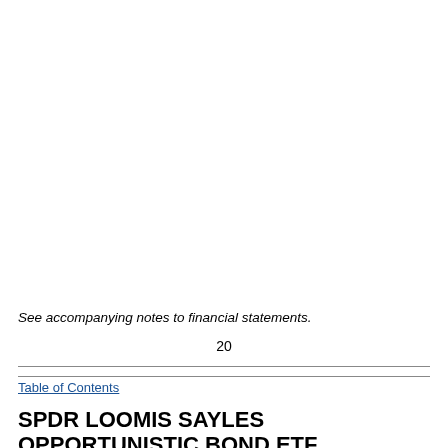See accompanying notes to financial statements.
20
Table of Contents
SPDR LOOMIS SAYLES OPPORTUNISTIC BOND ETF